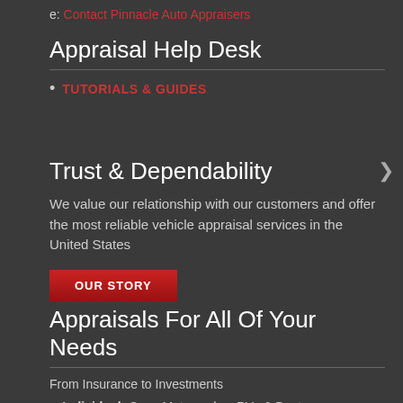e: Contact Pinnacle Auto Appraisers
Appraisal Help Desk
TUTORIALS & GUIDES
Trust & Dependability
We value our relationship with our customers and offer the most reliable vehicle appraisal services in the United States
OUR STORY
Appraisals For All Of Your Needs
From Insurance to Investments
Individual: Cars, Motorcycles, RVs & Boats
Small Business: Vehicles, Vans, Trucks & Trailers
National & Corporate: Fleets, Semis, Trailors, Investments